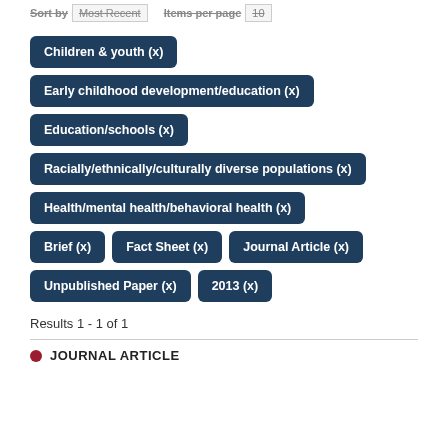Children & youth (x)
Early childhood development/education (x)
Education/schools (x)
Racially/ethnically/culturally diverse populations (x)
Health/mental health/behavioral health (x)
Brief (x)
Fact Sheet (x)
Journal Article (x)
Unpublished Paper (x)
2013 (x)
Results 1 - 1 of 1
JOURNAL ARTICLE